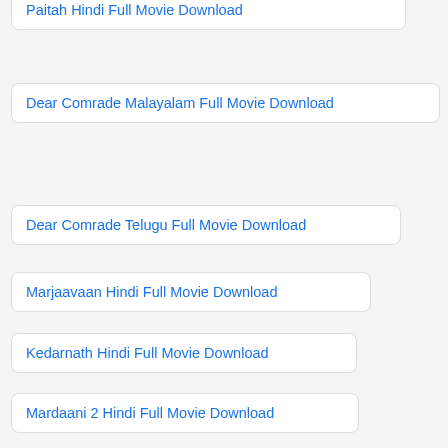Paitah Hindi Full Movie Download
Dear Comrade Malayalam Full Movie Download
Dear Comrade Telugu Full Movie Download
Marjaavaan Hindi Full Movie Download
Kedarnath Hindi Full Movie Download
Mardaani 2 Hindi Full Movie Download
The Hills Have Eyes 2 Tamil Dubbed Movie Download
The Hangover Tamil Dubbed Movie Download
Vinaya Vidhaya Rama Hindi Dubbed Movie